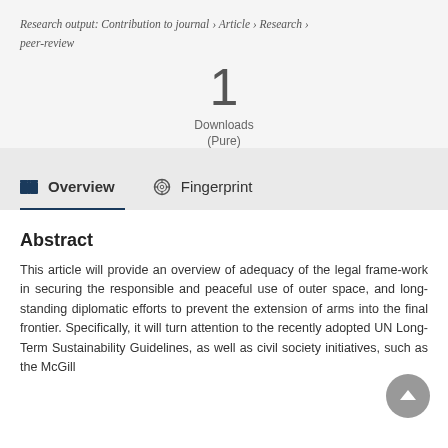Research output: Contribution to journal › Article › Research › peer-review
1
Downloads
(Pure)
Overview
Fingerprint
Abstract
This article will provide an overview of adequacy of the legal frame-work in securing the responsible and peaceful use of outer space, and long-standing diplomatic efforts to prevent the extension of arms into the final frontier. Specifically, it will turn attention to the recently adopted UN Long-Term Sustainability Guidelines, as well as civil society initiatives, such as the McGill